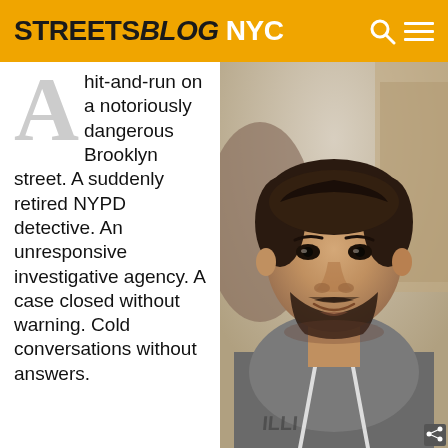STREETSBLOG NYC
A hit-and-run on a notoriously dangerous Brooklyn street. A suddenly retired NYPD detective. An unresponsive investigative agency. A case closed without warning. Cold conversations without answers.
[Figure (photo): Portrait photo of a man with a beard wearing a gray hoodie, smiling slightly, photographed indoors.]